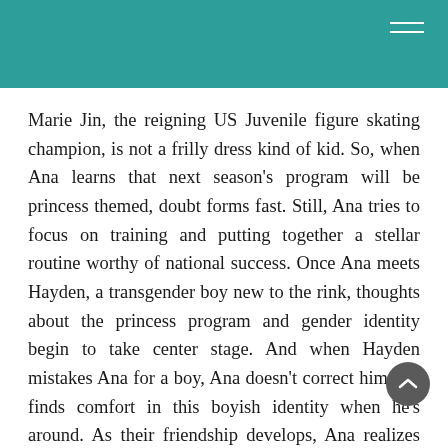Marie Jin, the reigning US Juvenile figure skating champion, is not a frilly dress kind of kid. So, when Ana learns that next season's program will be princess themed, doubt forms fast. Still, Ana tries to focus on training and putting together a stellar routine worthy of national success. Once Ana meets Hayden, a transgender boy new to the rink, thoughts about the princess program and gender identity begin to take center stage. And when Hayden mistakes Ana for a boy, Ana doesn't correct him and finds comfort in this boyish identity when he's around. As their friendship develops, Ana realizes that it's tricky juggling two